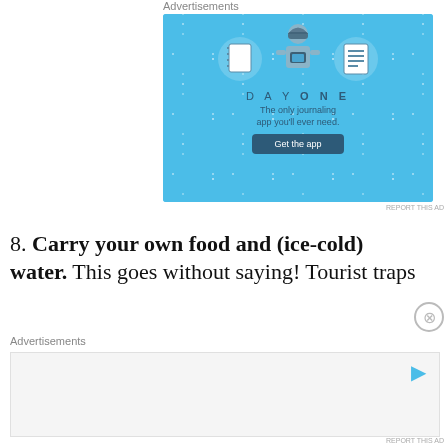Advertisements
[Figure (illustration): Day One journaling app advertisement. Blue background with sparkle dots. Three icons: a notebook, a person wearing a helmet holding a phone, and a list/checklist. Text reads 'DAY ONE' and 'The only journaling app you'll ever need.' with a dark blue 'Get the app' button.]
REPORT THIS AD
8. Carry your own food and (ice-cold) water. This goes without saying! Tourist traps
Advertisements
[Figure (other): Empty advertisement banner with play icon in top right corner.]
REPORT THIS AD